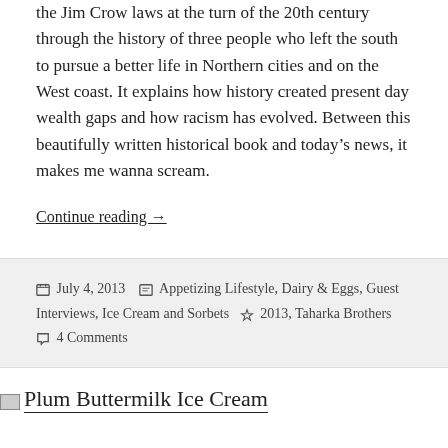the Jim Crow laws at the turn of the 20th century through the history of three people who left the south to pursue a better life in Northern cities and on the West coast. It explains how history created present day wealth gaps and how racism has evolved. Between this beautifully written historical book and today's news, it makes me wanna scream.
Continue reading →
July 4, 2013   Appetizing Lifestyle, Dairy & Eggs, Guest Interviews, Ice Cream and Sorbets   2013, Taharka Brothers   4 Comments
Plum Buttermilk Ice Cream